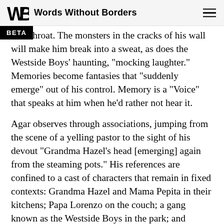Words Without Borders
l his throat. The monsters in the cracks of his wall will make him break into a sweat, as does the Westside Boys' haunting, “mocking laughter.” Memories become fantasies that “suddenly emerge” out of his control. Memory is a “Voice” that speaks at him when he’d rather not hear it.
Agar observes through associations, jumping from the scene of a yelling pastor to the sight of his devout “Grandma Hazel’s head [emerging] again from the steaming pots.” His references are confined to a cast of characters that remain in fixed contexts: Grandma Hazel and Mama Pepita in their kitchens; Papa Lorenzo on the couch; a gang known as the Westside Boys in the park; and